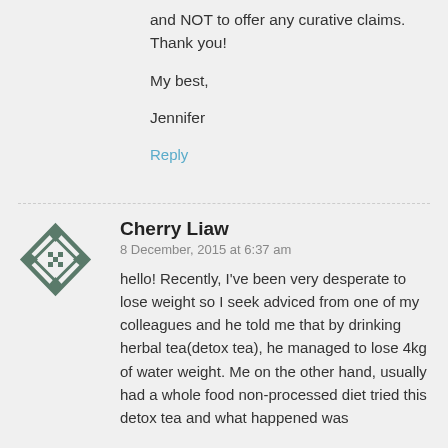and NOT to offer any curative claims. Thank you!
My best,
Jennifer
Reply
Cherry Liaw
8 December, 2015 at 6:37 am
hello! Recently, I've been very desperate to lose weight so I seek adviced from one of my colleagues and he told me that by drinking herbal tea(detox tea), he managed to lose 4kg of water weight. Me on the other hand, usually had a whole food non-processed diet tried this detox tea and what happened was